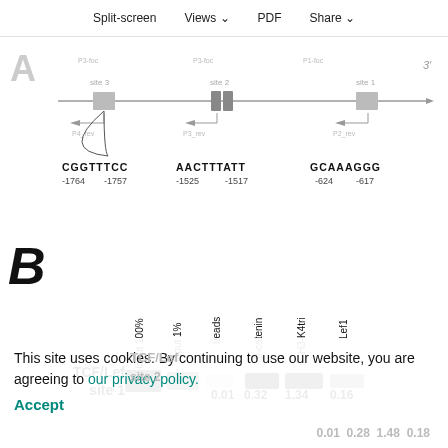Split-screen   Views   PDF   Share
[Figure (schematic): Panel A: Schematic diagram showing a gene locus with three TCF/Lef binding sites. Site 3 contains CGGTTTCC (-1764 to -1757), site 2 contains AACTTTATT (-1525 to -1517), and site 1 contains GCAAAGGG (-624 to -617). Primer pairs P3-foc, P3-foc, P1-foc, P2-rev, P1-rev are indicated with arrows. 3' end is marked.]
[Figure (engineering-diagram): Panel B: ChIP assay gel image showing TCF/Lef site 1 results. Columns: Input 100%, Input 1%, beads, beta-catenin, H3-K4tri, Lef1. Values below: 0.01, 0.32, 1.34, 0.16]
TCF/Lef site 1
0.01   0.32   1.34   0.16
This site uses cookies. By continuing to use our website, you are agreeing to our privacy policy.
Accept